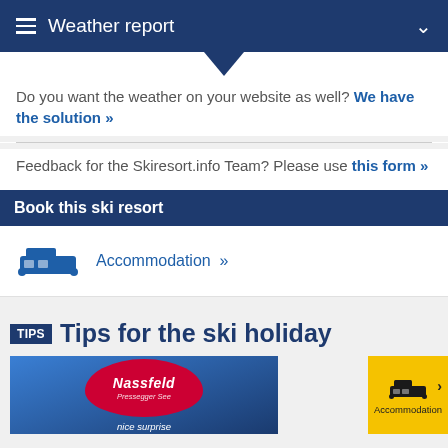Weather report
Do you want the weather on your website as well? We have the solution »
Feedback for the Skiresort.info Team? Please use this form »
Book this ski resort
Accommodation »
Tips for the ski holiday
[Figure (photo): Nassfeld ski resort promotional image with logo and 'nice surprise' tagline]